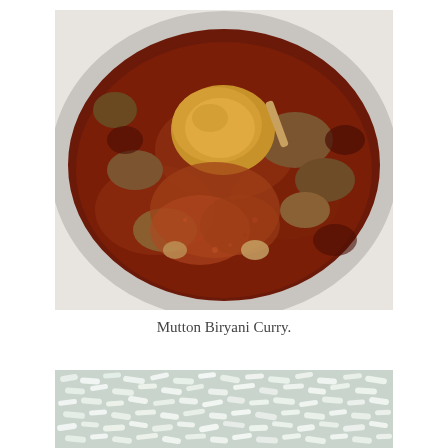[Figure (photo): A bowl of Mutton Biryani Curry — slow-cooked mutton pieces in a rich, deep reddish-brown gravy with a whole potato and spices, served in a white bowl viewed from above.]
Mutton Biryani Curry.
[Figure (photo): Close-up of cooked white basmati rice grains, appearing fluffy and moist, photographed from directly above.]